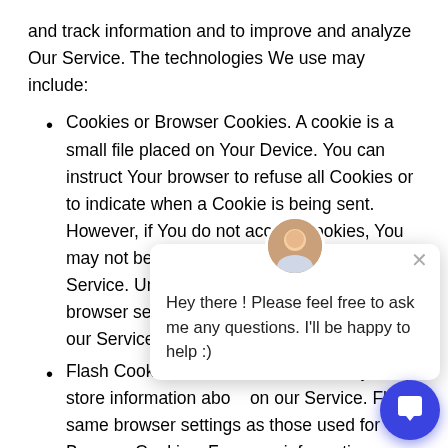and track information and to improve and analyze Our Service. The technologies We use may include:
Cookies or Browser Cookies. A cookie is a small file placed on Your Device. You can instruct Your browser to refuse all Cookies or to indicate when a Cookie is being sent. However, if You do not accept Cookies, You may not be able to use some parts of our Service. Unless you have adjusted Your browser setting so that it will refuse Cookies, our Service
Flash Cookies. Certain local stored objects ( store information abo on our Service. Flash same browser settings as those used for Browser Cookies. For more information on how You can Flash Cookies, please read "Where can I change th
[Figure (screenshot): Chat popup overlay with avatar of a person, close button (×), and message text: 'Hey there ! Please feel free to ask me any questions. I'll be happy to help :)']
[Figure (other): Blue circular chat button with speech bubble icon in the bottom right corner]